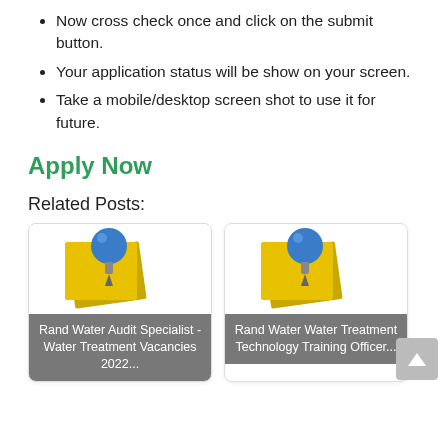Now cross check once and click on the submit button.
Your application status will be show on your screen.
Take a mobile/desktop screen shot to use it for future.
Apply Now
Related Posts:
[Figure (illustration): Card with blue thumbtack pin on yellow sticky notes, with gray overlay text: Rand Water Audit Specialist - Water Treatment Vacancies 2022...]
[Figure (illustration): Card with blue thumbtack pin on yellow sticky notes, with gray overlay text: Rand Water Water Treatment Technology Training Officer...]